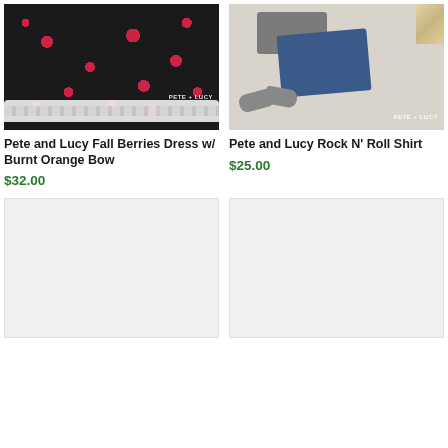[Figure (photo): Pete and Lucy Fall Berries Dress with black floral fabric and white ruffled hem]
[Figure (photo): Pete and Lucy Rock N Roll outfit flatlay with gray shirt, dark jeans, gray shoes, and floral accessories on wood background]
Pete and Lucy Fall Berries Dress w/ Burnt Orange Bow
$32.00
Pete and Lucy Rock N' Roll Shirt
$25.00
[Figure (photo): Placeholder product image (light gray)]
[Figure (photo): Placeholder product image (light gray)]